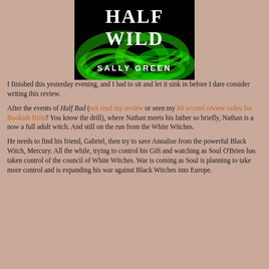[Figure (illustration): Book cover of 'Half Wild' by Sally Green — black background with swirling green smoke, white serif title text 'HALF WILD' and author name 'SALLY GREEN' in white caps below.]
I finished this yesterday evening, and I had to sit and let it sink in before I dare consider writing this review.
After the events of Half Bad (not read my review or seen my 60 second review video for Bookish Brits? You know the drill), where Nathan meets his father so briefly, Nathan is a now a full adult witch. And still on the run from the White Witches.
He needs to find his friend, Gabriel, then try to save Annalise from the powerful Black Witch, Mercury. All the while, trying to control his Gift and watching as Soul O'Brien has taken control of the council of White Witches. War is coming as Soul is planning to take more control and is expanding his war against Black Witches into Europe.